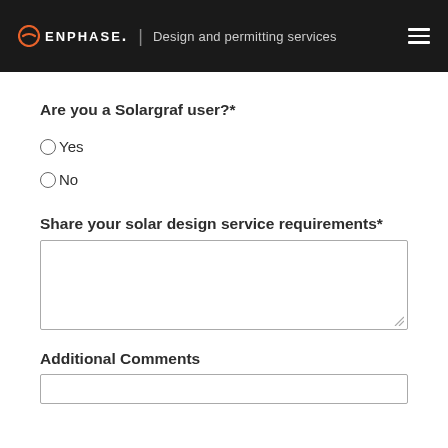ENPHASE. | Design and permitting services
Are you a Solargraf user?*
Yes
No
Share your solar design service requirements*
Additional Comments